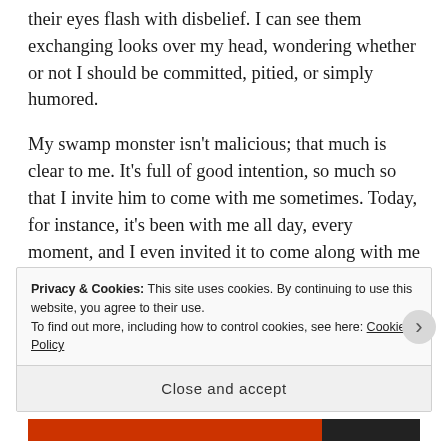their eyes flash with disbelief. I can see them exchanging looks over my head, wondering whether or not I should be committed, pitied, or simply humored.
My swamp monster isn't malicious; that much is clear to me. It's full of good intention, so much so that I invite him to come with me sometimes. Today, for instance, it's been with me all day, every moment, and I even invited it to come along with me to see a movie with some girlfriends and stay the night with me. The swamp monster was shocked and flattered,
Privacy & Cookies: This site uses cookies. By continuing to use this website, you agree to their use.
To find out more, including how to control cookies, see here: Cookie Policy
Close and accept